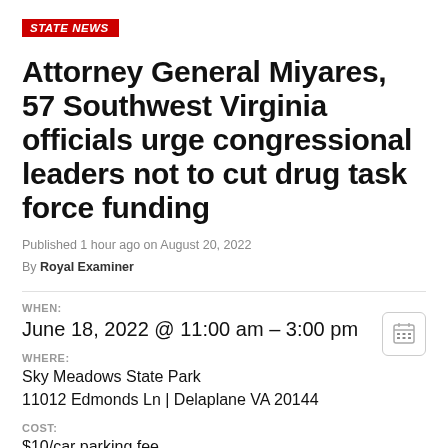STATE NEWS
Attorney General Miyares, 57 Southwest Virginia officials urge congressional leaders not to cut drug task force funding
Published 1 hour ago on August 20, 2022
By Royal Examiner
WHEN:
June 18, 2022 @ 11:00 am – 3:00 pm
WHERE:
Sky Meadows State Park
11012 Edmonds Ln | Delaplane VA 20144
COST:
$10/car parking fee
CONTACT: